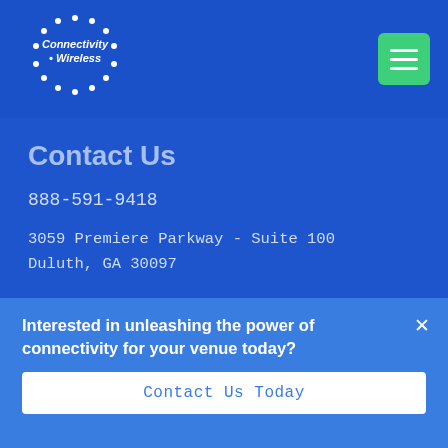[Figure (logo): Connectivity Wireless logo — white circular dot pattern around company name in white text on blue background]
Contact Us
888-591-9418
3059 Premiere Parkway - Suite 100
Duluth, GA 30097
First name *
Interested in unleashing the power of connectivity for your venue today?
Contact Us Today